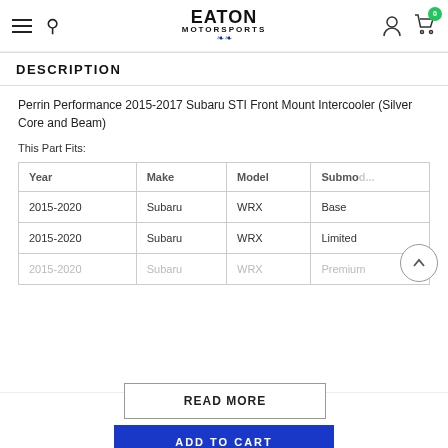Eaton Motorsports
DESCRIPTION
Perrin Performance 2015-2017 Subaru STI Front Mount Intercooler (Silver Core and Beam)
This Part Fits:
| Year | Make | Model | Submodel |
| --- | --- | --- | --- |
| 2015-2020 | Subaru | WRX | Base |
| 2015-2020 | Subaru | WRX | Limited |
| 2015-2020 | Subaru | WRX | Premium |
READ MORE
ADD TO CART